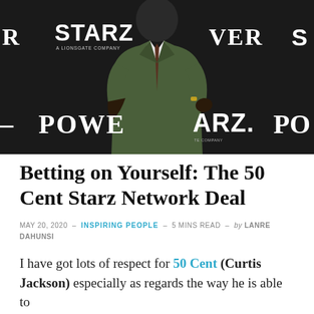[Figure (photo): 50 Cent (Curtis Jackson) posing at a Starz/Power step-and-repeat backdrop, wearing a green suit]
Betting on Yourself: The 50 Cent Starz Network Deal
MAY 20, 2020 – INSPIRING PEOPLE – 5 MINS READ – by LANRE DAHUNSI
I have got lots of respect for 50 Cent (Curtis Jackson) especially as regards the way he is able to